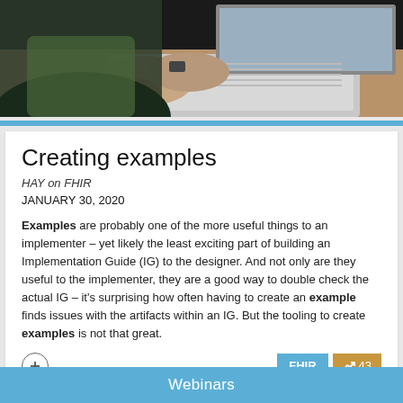[Figure (photo): Person's hands on a laptop keyboard, dark background, overhead view]
Creating examples
HAY on FHIR
JANUARY 30, 2020
Examples are probably one of the more useful things to an implementer – yet likely the least exciting part of building an Implementation Guide (IG) to the designer. And not only are they useful to the implementer, they are a good way to double check the actual IG – it's surprising how often having to create an example finds issues with the artifacts within an IG. But the tooling to create examples is not that great.
Webinars